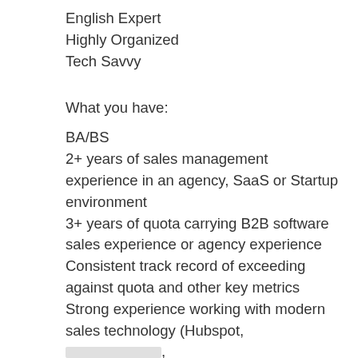English Expert
Highly Organized
Tech Savvy
What you have:
BA/BS
2+ years of sales management experience in an agency, SaaS or Startup environment
3+ years of quota carrying B2B software sales experience or agency experience
Consistent track record of exceeding against quota and other key metrics
Strong experience working with modern sales technology (Hubspot, [redacted], LinkedIn automation tools etc.)
Knowledge of SaaS and/or subscription-based business sales models